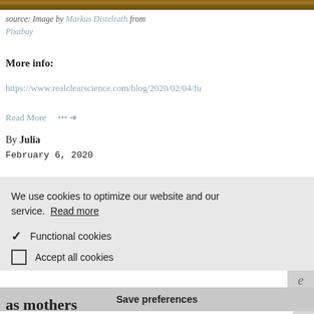[Figure (photo): Top strip of a wooden texture image, partially cropped]
source: Image by Markus Distelrath from Pixabay
More info:
https://www.realclearscience.com/blog/2020/02/04/fu
Read More   ... →
By Julia
February 6, 2020
We use cookies to optimize our website and our service.  Read more
✓ Functional cookies
☐ Accept all cookies
Save preferences
as mothers